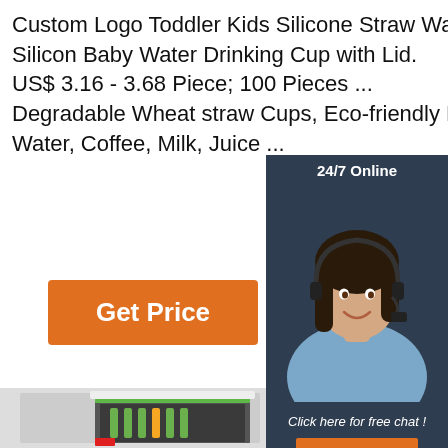Custom Logo Toddler Kids Silicone Straw Water Cup Silicon Baby Water Drinking Cup with Lid. US$ 3.16 - 3.68 Piece; 100 Pieces ... Degradable Wheat straw Cups, Eco-friendly Mug for Water, Coffee, Milk, Juice ...
[Figure (other): Orange 'Get Price' button]
[Figure (other): 24/7 Online chat widget with female customer service agent wearing headset, dark background panel showing 'Click here for free chat!' text and orange QUOTATION button]
[Figure (other): Bottom section showing a glass-door refrigerator/display cooler with bottles inside, and a pink/magenta rounded card with TOP logo on the right]